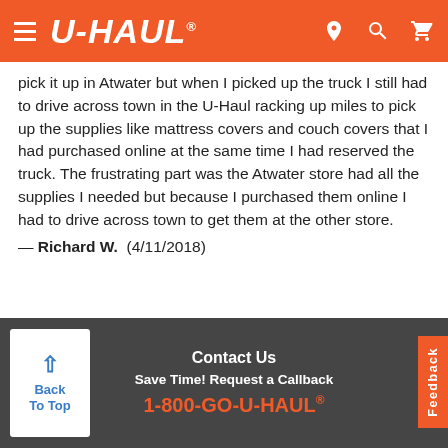U-HAUL
pick it up in Atwater but when I picked up the truck I still had to drive across town in the U-Haul racking up miles to pick up the supplies like mattress covers and couch covers that I had purchased online at the same time I had reserved the truck. The frustrating part was the Atwater store had all the supplies I needed but because I purchased them online I had to drive across town to get them at the other store. — Richard W.  (4/11/2018)
Additional Services at this Location
Contact Us
Save Time! Request a Callback
1-800-GO-U-HAUL®
Back To Top
Feedback